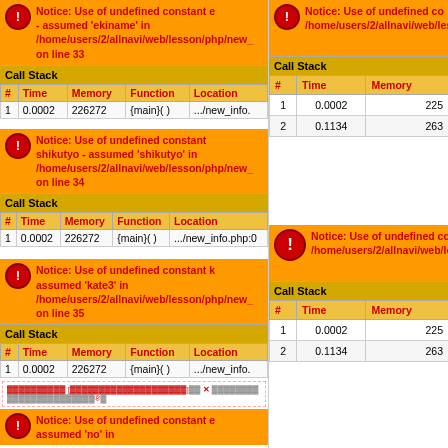Notice: Use of undefined constant e - assumed 'ekiname' in /home/users/2/allnavi/web/lesson/php/new_ on line 33
| # | Time | Memory | Function | Location |
| --- | --- | --- | --- | --- |
| 1 | 0.0002 | 226272 | {main}( ) | .../new_info. |
Notice: Use of undefined constant shikutyo - assumed 'shikutyo' in /home/users/2/allnavi/web/lesson/php/new_ on line 34
| # | Time | Memory | Function | Location |
| --- | --- | --- | --- | --- |
| 1 | 0.0002 | 226272 | {main}( ) | .../new_info.php:0 |
Notice: Use of undefined constant k assumed 'kate3' in /home/users/2/allnavi/web/lesson/php/new_ on line 35
| # | Time | Memory | Function | Location |
| --- | --- | --- | --- | --- |
| 1 | 0.0002 | 226272 | {main}( ) | .../new_info. |
[ad/Japanese text area]
Notice: Use of undefined constant e assumed 'no' in
Notice: Use of undefined co /home/users/2/allnavi/web/lesson/p
| # | Time | Memory |
| --- | --- | --- |
| 1 | 0.0002 | 225 |
| 2 | 0.1134 | 263 |
Notice: Use of undefined cor /home/users/2/allnavi/web/lesson/p
| # | Time | Memory |
| --- | --- | --- |
| 1 | 0.0002 | 225 |
| 2 | 0.1134 | 263 |